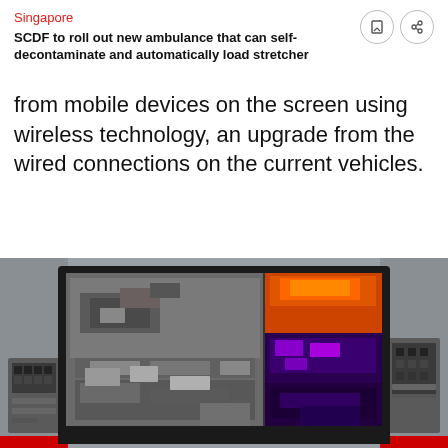Singapore
SCDF to roll out new ambulance that can self-decontaminate and automatically load stretcher
from mobile devices on the screen using wireless technology, an upgrade from the wired connections on the current vehicles.
The 12 feeds can be configured to display in different sizes or combinations. In contrast, the current CVs and FCVs only have three screens.
[Figure (photo): A monitor/screen mounted in a fire or emergency vehicle showing split camera feeds — left side showing a greyscale aerial or elevated camera view of vehicles and equipment on a road, right side showing a thermal/infrared camera feed with orange/purple hues showing vehicles on a road. Side panels show equipment racks and panels of the vehicle interior.]